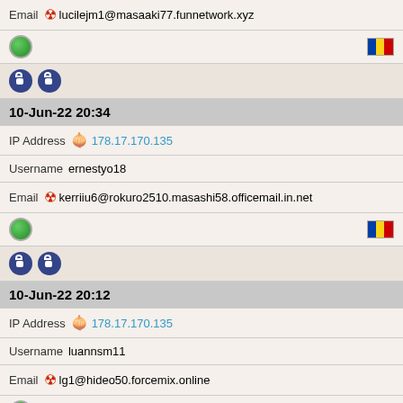Email ☣ lucilejm1@masaaki77.funnetwork.xyz
Globe icon | Moldova flag
Lock icons x2
10-Jun-22 20:34
IP Address 🧅 178.17.170.135
Username ernestyo18
Email ☣ kerriiu6@rokuro2510.masashi58.officemail.in.net
Globe icon | Moldova flag
Lock icons x2
10-Jun-22 20:12
IP Address 🧅 178.17.170.135
Username luannsm11
Email ☣ lg1@hideo50.forcemix.online
Globe icon | Moldova flag
Lock icons x2
10-Jun-22 12:44
IP Address 🧅 178.17.170.135